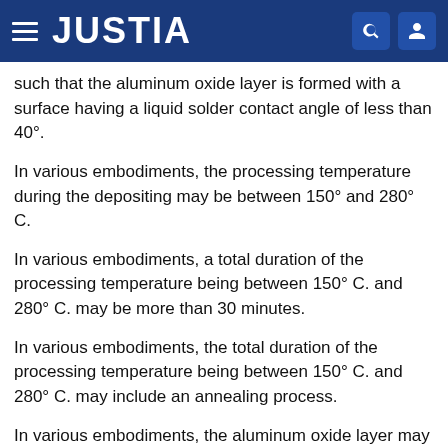JUSTIA
such that the aluminum oxide layer is formed with a surface having a liquid solder contact angle of less than 40°.
In various embodiments, the processing temperature during the depositing may be between 150° and 280° C.
In various embodiments, a total duration of the processing temperature being between 150° C. and 280° C. may be more than 30 minutes.
In various embodiments, the total duration of the processing temperature being between 150° C. and 280° C. may include an annealing process.
In various embodiments, the aluminum oxide layer may include copper at a percentage by mass of at least 5 wt %.